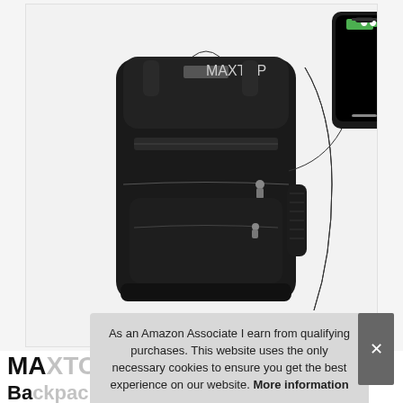[Figure (photo): Black MAXTOP laptop backpack with USB charging port and cable, shown with a smartphone plugged in on the right side. The backpack has multiple compartments, zippers, and side pockets. Displayed on a light gray/white background.]
As an Amazon Associate I earn from qualifying purchases. This website uses the only necessary cookies to ensure you get the best experience on our website. More information
MAXTOP Laptop Backpack, PortWater Resistant College School